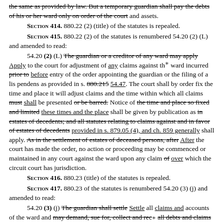the same as provided by law. But a temporary guardian shall pay the debts of his or her ward only on order of the court and assets.
SECTION 414. 880.22 (2) (title) of the statutes is repealed.
SECTION 415. 880.22 (2) of the statutes is renumbered 54.20 (2) (L) and amended to read:
54.20 (2) (L) The guardian or a creditor of any ward may apply Apply to the court for adjustment of any claims against the ward incurred prior to before entry of the order appointing the guardian or the filing of a lis pendens as provided in s. 880.215 54.47. The court shall by order fix the time and place it will adjust claims and the time within which all claims must shall be presented or be barred. Notice of the time and place so fixed and limited these times and the place shall be given by publication as in estates of decedents; and all statutes relating to claims against and in favor of estates of decedents provided in s. 879.05 (4), and ch. 859 generally shall apply. As in the settlement of estates of deceased persons, after After the court has made the order, no action or proceeding may be commenced or maintained in any court against the ward upon any claim of over which the circuit court has jurisdiction.
SECTION 416. 880.23 (title) of the statutes is repealed.
SECTION 417. 880.23 of the statutes is renumbered 54.20 (3) (j) and amended to read:
54.20 (3) (j) The guardian shall settle Settle all claims and accounts of the ward and may demand, sue for, collect and receive all debts and claims for damages due him or her, or may, with approval of the circuit court, compound and liquidate the...